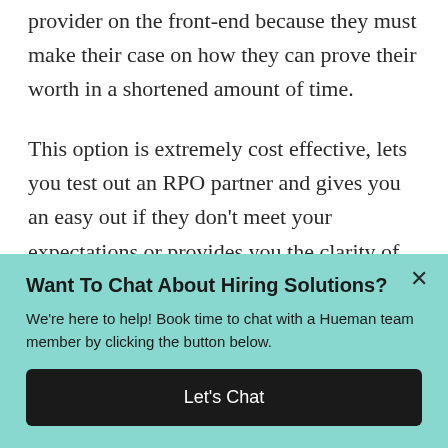provider on the front-end because they must make their case on how they can prove their worth in a shortened amount of time.
This option is extremely cost effective, lets you test out an RPO partner and gives you an easy out if they don't meet your expectations or provides you the clarity of what a long-term
Want To Chat About Hiring Solutions?
We're here to help! Book time to chat with a Hueman team member by clicking the button below.
Let's Chat